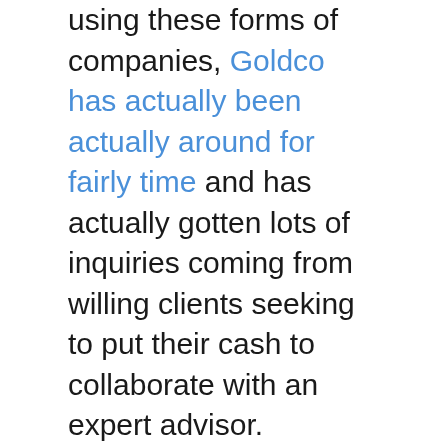using these forms of companies, Goldco has actually been actually around for fairly time and has actually gotten lots of inquiries coming from willing clients seeking to put their cash to collaborate with an expert advisor.
The company has been around due to the fact that 1998 and provides a full range of economic items consisting of individual retirement account, allowances, financial investments in gold and silvers as well as gold pieces. What makes all of them different coming from your standard insurance company is their concentrate on investing in gold. This is actually not as unusual as stock funds in today times however this is actually a great add-on to a profile. There is actually